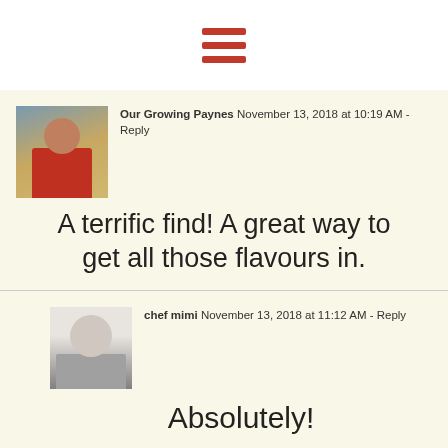[Figure (other): Hamburger menu icon with three red horizontal bars]
Our Growing Paynes  November 13, 2018 at 10:19 AM - Reply
A terrific find! A great way to get all those flavours in.
chef mimi  November 13, 2018 at 11:12 AM - Reply
Absolutely!
neil@neilshealthymeals.com  November 13, 2018 at 12:03 PM - Reply
Yes these boats ARE beautiful. I haven't had croissants in